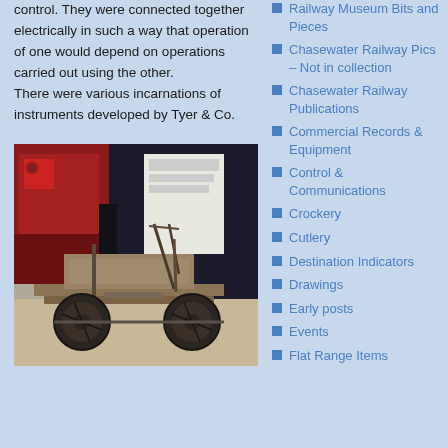control. They were connected together electrically in such a way that operation of one would depend on operations carried out using the other. There were various incarnations of instruments developed by Tyer & Co.
[Figure (photo): Photograph of an old wooden railway trolley or cart with large metal wheels, displayed in a museum setting with a red locomotive visible in the background.]
Railway Museum Bits and Pieces
Chasewater Railway Pics – Not in collection
Chasewater Railway Publications
Commercial Records & Equipment
Control & Communications
Crockery
Cutlery
Destination Indicators
Drawings
Early posts
Events
Flat Range Items